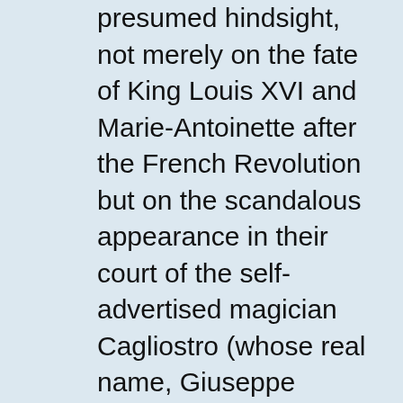presumed hindsight, not merely on the fate of King Louis XVI and Marie-Antoinette after the French Revolution but on the scandalous appearance in their court of the self-advertised magician Cagliostro (whose real name, Giuseppe Balsamo, Alexandre Dumas appropriated for his oft-reincarnated villain).
*Versailles (ver-SI). Royal palace west-southwest of Paris built in the mid-seventeenth century. Of the various royal residences featured in Memoirs of a Physician, the most celebrated is Versailles, whose splendor and luxury in the era of Louis XIV were legendary. Although several key scenes take place there–notably a symbolically loaded scene in a salon full of clocks, one of which the future Louis XVI